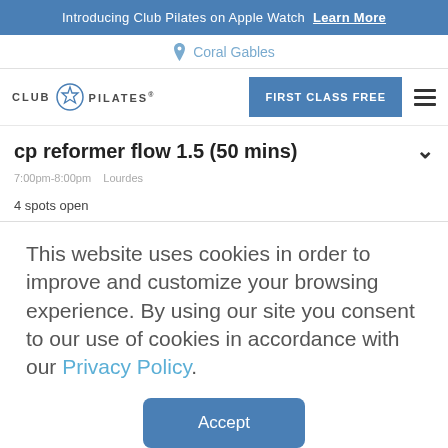Introducing Club Pilates on Apple Watch  Learn More
Coral Gables
[Figure (logo): Club Pilates logo with snowflake/star icon]
FIRST CLASS FREE
cp reformer flow 1.5 (50 mins)
7:00pm-8:00pm   Lourdes
4 spots open
This website uses cookies in order to improve and customize your browsing experience. By using our site you consent to our use of cookies in accordance with our Privacy Policy.
Accept